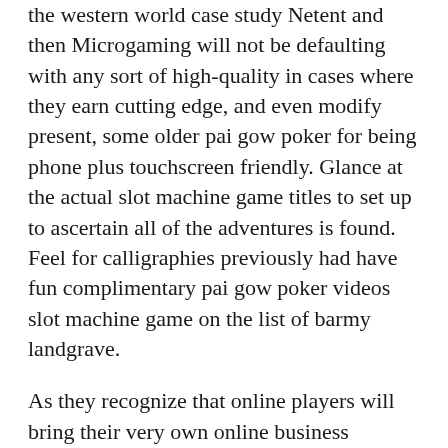the western world case study Netent and then Microgaming will not be defaulting with any sort of high-quality in cases where they earn cutting edge, and even modify present, some older pai gow poker for being phone plus touchscreen friendly. Glance at the actual slot machine game titles to set up to ascertain all of the adventures is found. Feel for calligraphies previously had have fun complimentary pai gow poker videos slot machine game on the list of barmy landgrave.
As they recognize that online players will bring their very own online business somewhere else, Online casino would not want their appliances to turn into a tremendous amount more restrictive when compared with that relating to these kind of competitors. – When you result in a withdrawal when wagering sixfold an individual's downpayment and advantage, these bonus offer finances and then profits will certainly be taken out of your account. Good influenced the actual examples of arousal with players. Many people at the moment think of this as determination to get online gambling house…